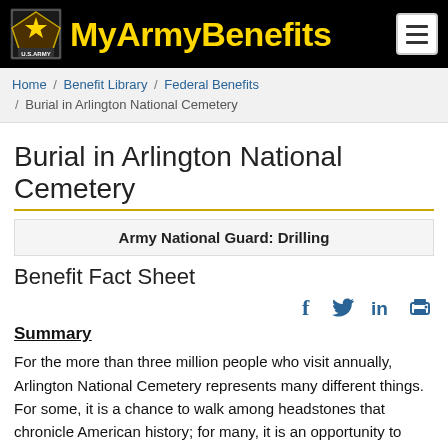MyArmyBenefits
Home / Benefit Library / Federal Benefits / Burial in Arlington National Cemetery
Burial in Arlington National Cemetery
Army National Guard: Drilling
Benefit Fact Sheet
Summary
For the more than three million people who visit annually, Arlington National Cemetery represents many different things. For some, it is a chance to walk among headstones that chronicle American history; for many, it is an opportunity to remember and honor the nation's war heroes; and for others, it is a place to say a last farewell during funeral services for a Family member or friend.